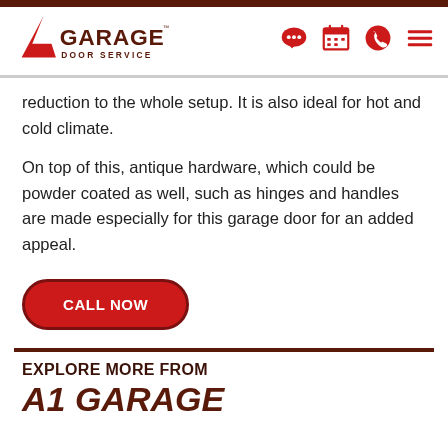A1 GARAGE DOOR SERVICE
reduction to the whole setup. It is also ideal for hot and cold climate.
On top of this, antique hardware, which could be powder coated as well, such as hinges and handles are made especially for this garage door for an added appeal.
CALL NOW
EXPLORE MORE FROM
A1 GARAGE